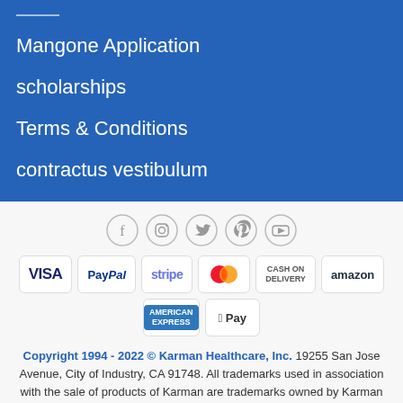Mangone Application
scholarships
Terms & Conditions
contractus vestibulum
[Figure (illustration): Social media icons row: Facebook, Instagram, Twitter, Pinterest, YouTube]
[Figure (illustration): Payment method badges: VISA, PayPal, stripe, MasterCard, CASH ON DELIVERY, amazon, AMERICAN EXPRESS, Apple Pay]
Copyright 1994 - 2022 © Karman Healthcare, Inc. 19255 San Jose Avenue, City of Industry, CA 91748. All trademarks used in association with the sale of products of Karman are trademarks owned by Karman Healthcare, Inc. All other trademarks, trade names, service marks and logos referenced herein belong to